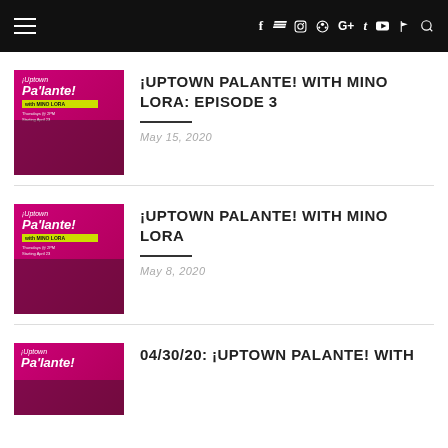Navigation bar with hamburger menu, social icons (f, twitter, instagram, pinterest, G+, tumblr, youtube, rss) and search
[Figure (photo): ¡Uptown Pa'lante! podcast thumbnail with Mino Lora]
¡UPTOWN PALANTE! WITH MINO LORA: EPISODE 3
May 15, 2020
[Figure (photo): ¡Uptown Pa'lante! podcast thumbnail with Mino Lora]
¡UPTOWN PALANTE! WITH MINO LORA
May 8, 2020
[Figure (photo): ¡Uptown Pa'lante! podcast thumbnail with Mino Lora]
04/30/20: ¡UPTOWN PALANTE! WITH